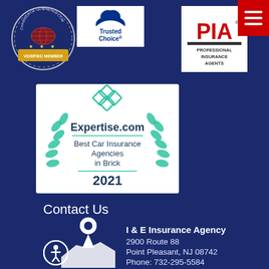[Figure (logo): Chamber of Commerce Verified Member badge]
[Figure (logo): Trusted Choice logo with bird/wing mark]
[Figure (logo): PIA Professional Insurance Agents logo]
[Figure (logo): Expertise.com Best Car Insurance Agencies in Brick 2021 badge]
Contact Us
I & E Insurance Agency
2900 Route 88
Point Pleasant, NJ 08742
Phone: 732-295-5584
ineagency@gmail.com